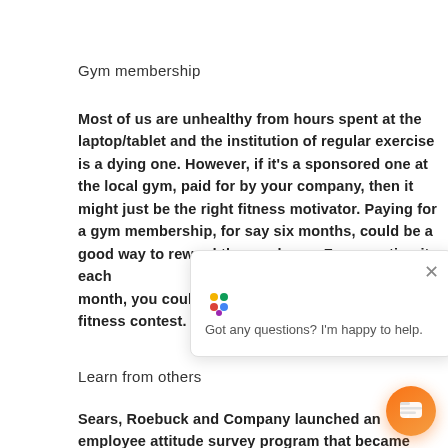Gym membership
Most of us are unhealthy from hours spent at the laptop/tablet and the institution of regular exercise is a dying one. However, if it’s a sponsored one at the local gym, paid for by your company, then it might just be the right fitness motivator. Paying for a gym membership, for say six months, could be a good way to reward the employee. F…ting it each month, you could use … fitness contest.
[Figure (screenshot): Chat popup overlay showing icon with Google Assistant colors and text 'Got any questions? I'm happy to help.' with a close (X) button, partially covering the text content]
Learn from others
Sears, Roebuck and Company launched an employee attitude survey program that became